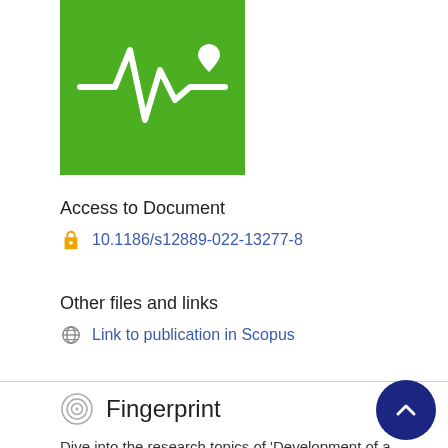[Figure (logo): Green square logo with white heartbeat/ECG line and heart icon]
Access to Document
10.1186/s12889-022-13277-8
Other files and links
Link to publication in Scopus
Fingerprint
Dive into the research topics of 'Development of a social distancing monitoring system in Republic of Korea: results of a modified Delphi process'. Together they form a unique fingerprint.